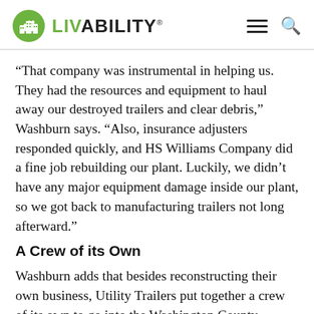LIVABILITY
“That company was instrumental in helping us. They had the resources and equipment to haul away our destroyed trailers and clear debris,” Washburn says. “Also, insurance adjusters responded quickly, and HS Williams Company did a fine job rebuilding our plant. Luckily, we didn’t have any major equipment damage inside our plant, so we got back to manufacturing trailers not long afterward.”
A Crew of its Own
Washburn adds that besides reconstructing their own business, Utility Trailers put together a crew of its own to go into the Washington County community